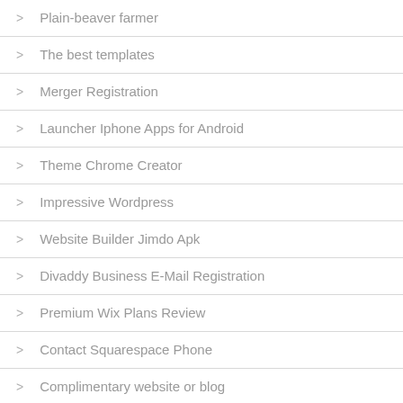Plain-beaver farmer
The best templates
Merger Registration
Launcher Iphone Apps for Android
Theme Chrome Creator
Impressive Wordpress
Website Builder Jimdo Apk
Divaddy Business E-Mail Registration
Premium Wix Plans Review
Contact Squarespace Phone
Complimentary website or blog
Which Wordpress template is used?
Template for Pipeline Management
Wordpress Creative Websites
Theme Remix
Theme of web developer